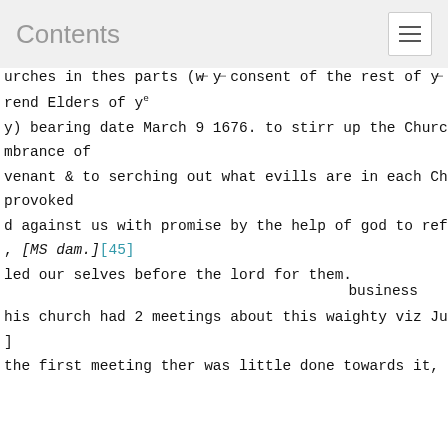Contents
urches in thes parts (w͟ y͟ consent of the rest of y͟
rend Elders of yᵉ
y) bearing date March 9 1676. to stirr up the Churches t
mbrance of
venant & to serching out what evills are in each Church
provoked
d against us with promise by the help of god to reforme
, [MS dam.][45]
led our selves before the lord for them.
business
his church had 2 meetings about this waighty viz June 13
]
the first meeting ther was little done towards it, but